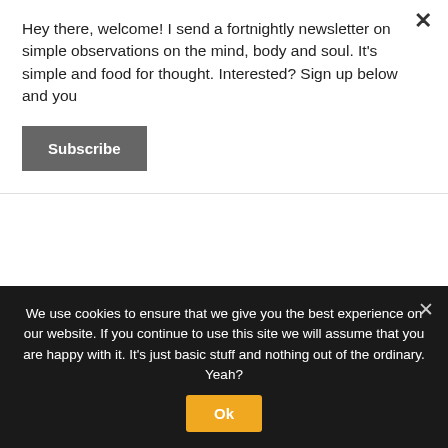Hey there, welcome! I send a fortnightly newsletter on simple observations on the mind, body and soul. It's simple and food for thought. Interested? Sign up below and you
Subscribe
August 27, 2009 at 5:38 pm
Totally! That shall be my goal. A Christmas card with a picture of the hubby and me free-styling! Done.
We use cookies to ensure that we give you the best experience on our website. If you continue to use this site we will assume that you are happy with it. It's just basic stuff and nothing out of the ordinary. Yeah?
Ok